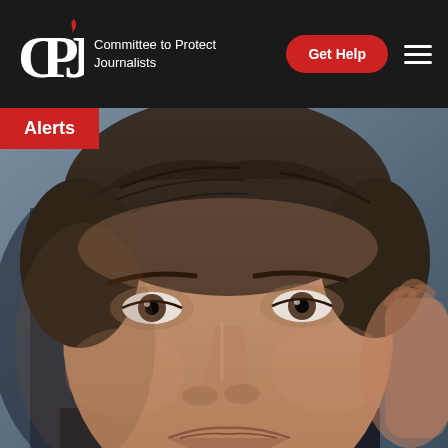CPJ — Committee to Protect Journalists
Alerts
[Figure (photo): Close-up photograph of a middle-aged man with dark hair, appearing to be listening or speaking, with a blurred background.]